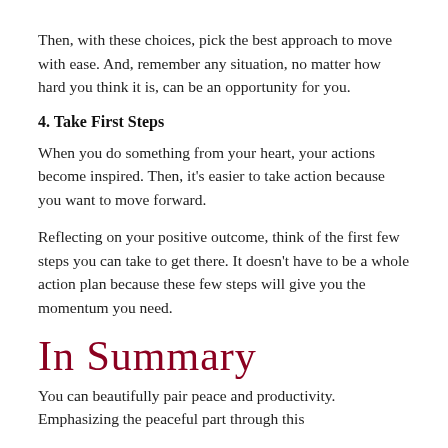Then, with these choices, pick the best approach to move with ease. And, remember any situation, no matter how hard you think it is, can be an opportunity for you.
4. Take First Steps
When you do something from your heart, your actions become inspired. Then, it’s easier to take action because you want to move forward.
Reflecting on your positive outcome, think of the first few steps you can take to get there. It doesn’t have to be a whole action plan because these few steps will give you the momentum you need.
In Summary
You can beautifully pair peace and productivity. Emphasizing the peaceful part through this